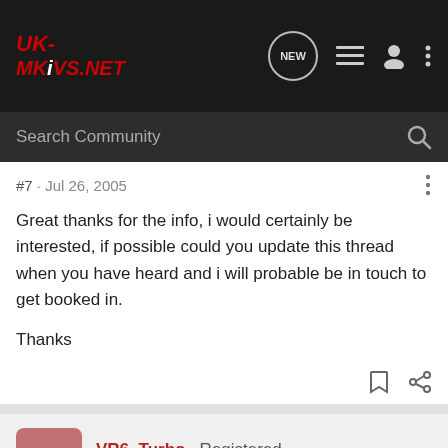[Figure (screenshot): UK-MKiVS.NET forum navigation bar with logo, search, new messages, list, user, and menu icons on dark background]
Search Community
#7 · Jul 26, 2005
Great thanks for the info, i would certainly be interested, if possible could you update this thread when you have heard and i will probable be in touch to get booked in.

Thanks
VR6_Turbo · Registered
Joined Jul 9, 2004 · 279 Posts
#8 · Jul 27, 2005